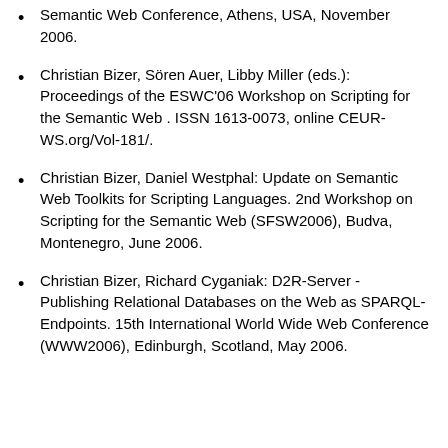Semantic Web Conference, Athens, USA, November 2006.
Christian Bizer, Sören Auer, Libby Miller (eds.): Proceedings of the ESWC'06 Workshop on Scripting for the Semantic Web . ISSN 1613-0073, online CEUR-WS.org/Vol-181/.
Christian Bizer, Daniel Westphal: Update on Semantic Web Toolkits for Scripting Languages. 2nd Workshop on Scripting for the Semantic Web (SFSW2006), Budva, Montenegro, June 2006.
Christian Bizer, Richard Cyganiak: D2R-Server - Publishing Relational Databases on the Web as SPARQL-Endpoints. 15th International World Wide Web Conference (WWW2006), Edinburgh, Scotland, May 2006.